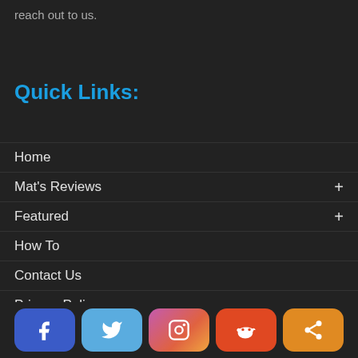reach out to us.
Quick Links:
Home
Mat's Reviews
Featured
How To
Contact Us
Privacy Policy
Affiliate Disclosure
[Figure (infographic): Social media share buttons: Facebook (blue), Twitter (light blue), Instagram (gradient pink-orange), Reddit (orange-red), Share (orange)]